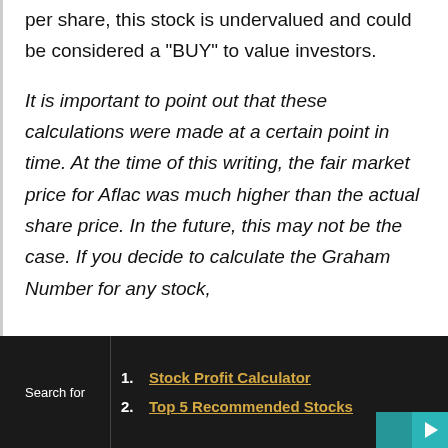per share, this stock is undervalued and could be considered a "BUY" to value investors.
It is important to point out that these calculations were made at a certain point in time. At the time of this writing, the fair market price for Aflac was much higher than the actual share price. In the future, this may not be the case. If you decide to calculate the Graham Number for any stock,
Search for
1. Stock Profit Calculator
2. Top 5 Recommended Stocks